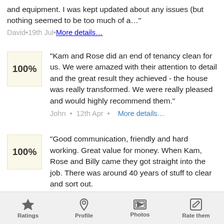and equipment. I was kept updated about any issues (but nothing seemed to be too much of a…"
David • 19th Jul • More details…
"Kam and Rose did an end of tenancy clean for us. We were amazed with their attention to detail and the great result they achieved - the house was really transformed. We were really pleased and would highly recommend them."
John • 12th Apr • More details…
"Good communication, friendly and hard working. Great value for money. When Kam, Rose and Billy came they got straight into the job. There was around 40 years of stuff to clear and sort out.
Ratings  Profile  Photos  Rate them